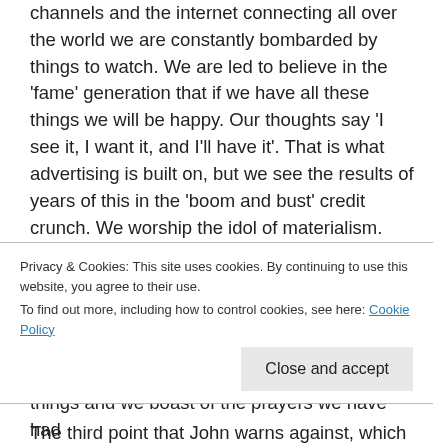channels and the internet connecting all over the world we are constantly bombarded by things to watch. We are led to believe in the 'fame' generation that if we have all these things we will be happy. Our thoughts say 'I see it, I want it, and I'll have it'. That is what advertising is built on, but we see the results of years of this in the 'boom and bust' credit crunch. We worship the idol of materialism. The cares and anxieties of the world, the distractions of the age, along with the pleasure, delight and false glamour of wealth and the cravings and passionate desires for more things all lead to the choking of the Word making it unfruitful, Mark 4:19.
The third point that John warns against, which is
Privacy & Cookies: This site uses cookies. By continuing to use this website, you agree to their use.
To find out more, including how to control cookies, see here: Cookie Policy
Close and accept
things and we boast of the prayers we have had